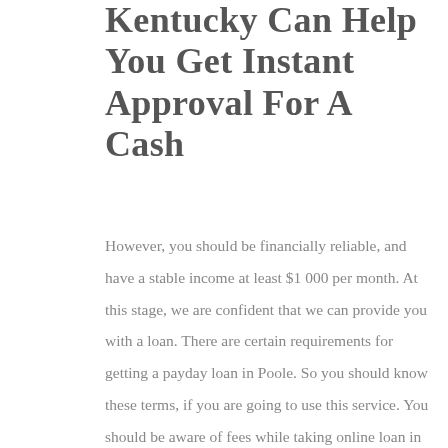Kentucky Can Help You Get Instant Approval For A Cash
However, you should be financially reliable, and have a stable income at least $1 000 per month. At this stage, we are confident that we can provide you with a loan. There are certain requirements for getting a payday loan in Poole. So you should know these terms, if you are going to use this service. You should be aware of fees while taking online loan in Poole. If you